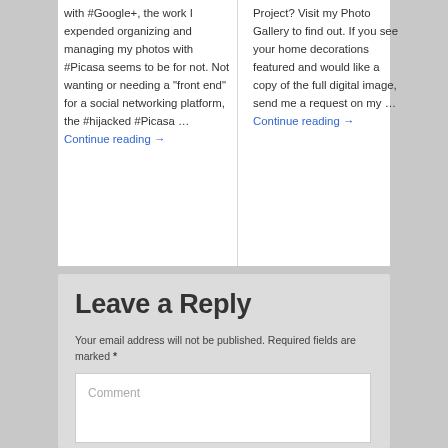with #Google+, the work I expended organizing and managing my photos with #Picasa seems to be for not. Not wanting or needing a "front end" for a social networking platform, the #hijacked #Picasa … Continue reading →
Project? Visit my Photo Gallery to find out. If you see your home decorations featured and would like a copy of the full digital image, send me a request on my … Continue reading →
Leave a Reply
Your email address will not be published. Required fields are marked *
Comment